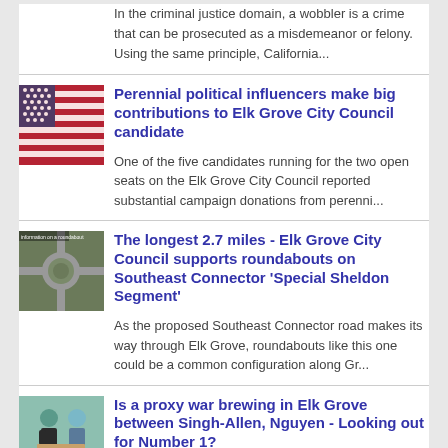In the criminal justice domain, a wobbler is a crime that can be prosecuted as a misdemeanor or felony. Using the same principle, California...
[Figure (photo): American flag with red, white and blue colors, blurred motion effect]
Perennial political influencers make big contributions to Elk Grove City Council candidate
One of the five candidates running for the two open seats on the Elk Grove City Council reported substantial campaign donations from perenni...
[Figure (photo): Aerial view of a roundabout road intersection]
The longest 2.7 miles - Elk Grove City Council supports roundabouts on Southeast Connector 'Special Sheldon Segment'
As the proposed Southeast Connector road makes its way through Elk Grove, roundabouts like this one could be a common configuration along Gr...
[Figure (photo): Person appearing to arm wrestle, proxy war illustration]
Is a proxy war brewing in Elk Grove between Singh-Allen, Nguyen - Looking out for Number 1?